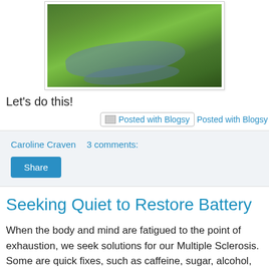[Figure (photo): Aerial or landscape photograph showing a green grassy area with a river or stream running through it, surrounded by trees]
Let's do this!
[Figure (other): Posted with Blogsy badge/button with broken image icon, followed by 'Posted with Blogsy' link text]
Caroline Craven   3 comments:
Share
Seeking Quiet to Restore Battery
When the body and mind are fatigued to the point of exhaustion, we seek solutions for our Multiple Sclerosis. Some are quick fixes, such as caffeine, sugar, alcohol,